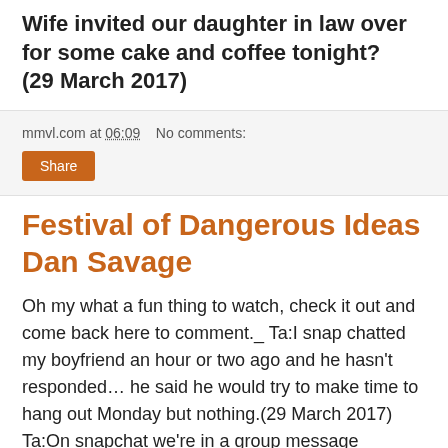Wife invited our daughter in law over for some cake and coffee tonight? (29 March 2017)
mmvl.com at 06:09    No comments:
Share
Festival of Dangerous Ideas Dan Savage
Oh my what a fun thing to watch, check it out and come back here to comment._ Ta:I snap chatted my boyfriend an hour or two ago and he hasn't responded… he said he would try to make time to hang out Monday but nothing.(29 March 2017) Ta:On snapchat we're in a group message together and his [...]
—
Cecilia: